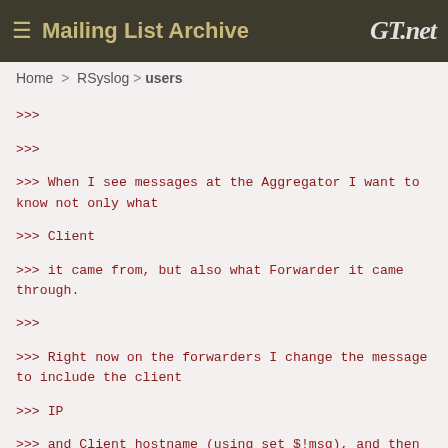≡ Mailing List Archive   GT.net
Home > RSyslog > users
>>>
>>>
>>> When I see messages at the Aggregator I want to know not only what
>>> Client
>>> it came from, but also what Forwarder it came through.
>>>
>>> Right now on the forwarders I change the message to include the client
>>> IP
>>> and Client hostname (using set $!msg), and then send it using an onfwd
>>> template (note that I have a intermediary variable for fromhost-ip
>>> here):
>>>
>>> type="string" string="%timegenerated% from:%$fromhost-ip%
>>> %syslogseverity-text%%$!msg%\n"
>>>
>>> At the aggregator I also need to know whether a message came